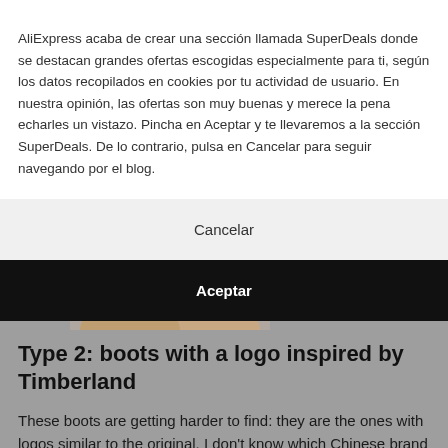AliExpress acaba de crear una sección llamada SuperDeals donde se destacan grandes ofertas escogidas especialmente para ti, según los datos recopilados en cookies por tu actividad de usuario. En nuestra opinión, las ofertas son muy buenas y merece la pena echarles un vistazo. Pincha en Aceptar y te llevaremos a la sección SuperDeals. De lo contrario, pulsa en Cancelar para seguir navegando por el blog.
Cancelar
Aceptar
[Figure (photo): Partial view of a hand holding something, visible at the bottom of the dialog overlay area against a grey background.]
Type 2: boots with a logo inspired by Timberland
These boots are getting harder to find: they are the ones with logos similar to the original. I don't know which Chinese brand makes them, but keep in mind